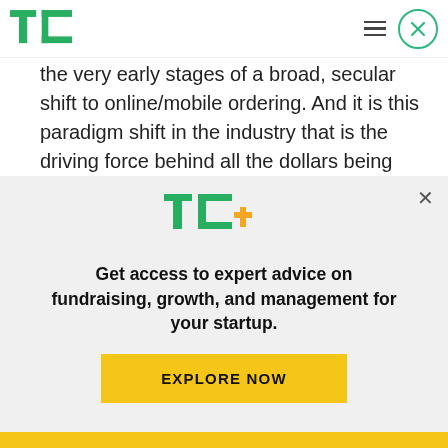TechCrunch logo and navigation header
the very early stages of a broad, secular shift to online/mobile ordering. And it is this paradigm shift in the industry that is the driving force behind all the dollars being thrown into the space as investors place their bets on which horse ultimately turns into that proverbial sought-after unicorn.
[Figure (logo): TechCrunch TC+ logo with green letters and orange plus sign]
Get access to expert advice on fundraising, growth, and management for your startup.
EXPLORE NOW